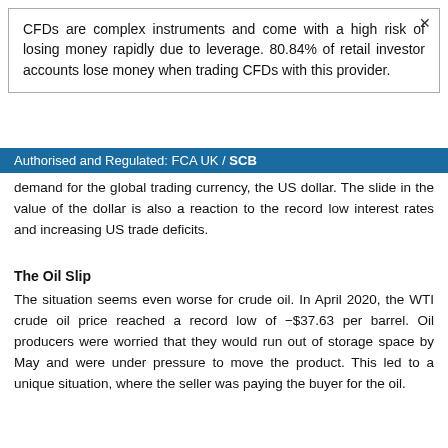CFDs are complex instruments and come with a high risk of losing money rapidly due to leverage. 80.84% of retail investor accounts lose money when trading CFDs with this provider.
Authorised and Regulated: FCA UK / SCB
demand for the global trading currency, the US dollar. The slide in the value of the dollar is also a reaction to the record low interest rates and increasing US trade deficits.
The Oil Slip
The situation seems even worse for crude oil. In April 2020, the WTI crude oil price reached a record low of −$37.63 per barrel. Oil producers were worried that they would run out of storage space by May and were under pressure to move the product. This led to a unique situation, where the seller was paying the buyer for the oil.
This drastic fall in prices was largely due to demand drying up.